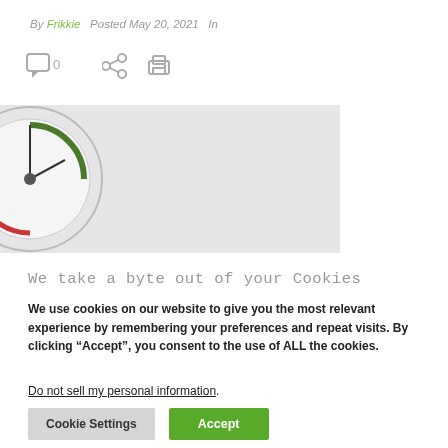By Frikkie  Posted May 20, 2021  In
[Figure (screenshot): Action bar with comment icon showing 0, share icon, and print icon]
[Figure (photo): Partial circular logo/badge on a light grey background, cropped at left edge]
We take a byte out of your Cookies
We use cookies on our website to give you the most relevant experience by remembering your preferences and repeat visits. By clicking “Accept”, you consent to the use of ALL the cookies.
Do not sell my personal information.
Cookie Settings  Accept